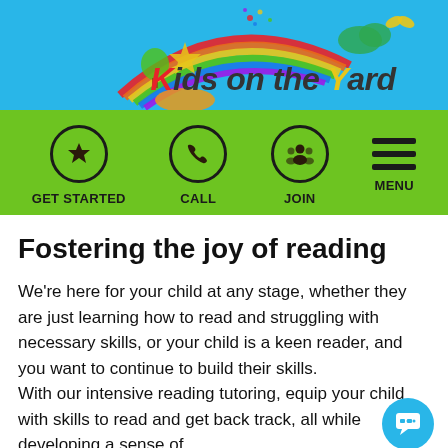[Figure (logo): Kids on the Yard logo with rainbow, colorful tree, and sky background. Logo text reads 'Kids on the Yard' in stylized colorful font.]
GET STARTED  CALL  JOIN  MENU
Fostering the joy of reading
We're here for your child at any stage, whether they are just learning how to read and struggling with necessary skills, or your child is a keen reader, and you want to continue to build their skills. With our intensive reading tutoring, equip your child with skills to read and get back track, all while developing a sense of